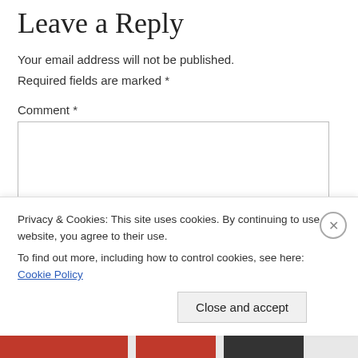Leave a Reply
Your email address will not be published. Required fields are marked *
Comment *
[Figure (other): Comment text area input box, large rectangle with border]
Privacy & Cookies: This site uses cookies. By continuing to use this website, you agree to their use. To find out more, including how to control cookies, see here: Cookie Policy
Close and accept